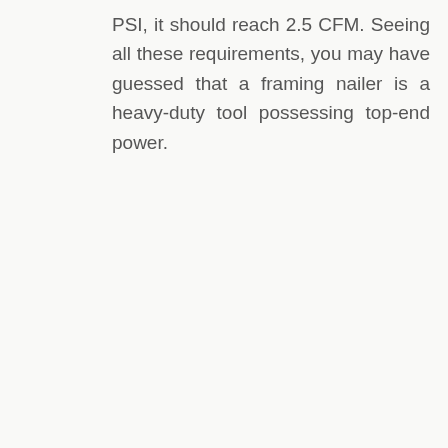PSI, it should reach 2.5 CFM. Seeing all these requirements, you may have guessed that a framing nailer is a heavy-duty tool possessing top-end power.